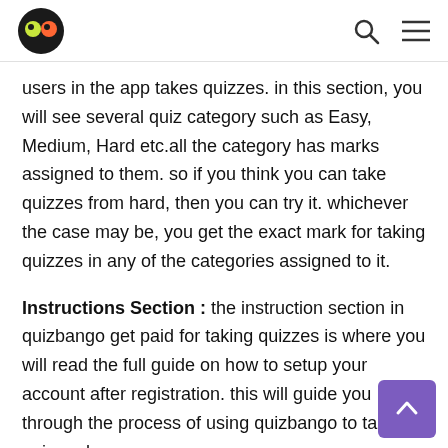Quizbango logo, search icon, hamburger menu
users in the app takes quizzes. in this section, you will see several quiz category such as Easy, Medium, Hard etc.all the category has marks assigned to them. so if you think you can take quizzes from hard, then you can try it. whichever the case may be, you get the exact mark for taking quizzes in any of the categories assigned to it.
Instructions Section : the instruction section in quizbango get paid for taking quizzes is where you will read the full guide on how to setup your account after registration. this will guide you through the process of using quizbango to take quiz and earn